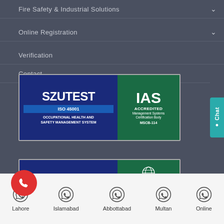Fire Safety & Industrial Solutions
Online Registration
Verification
Contact
[Figure (logo): SZUTEST ISO 45001 Occupational Health and Safety Management System badge with IAS Accredited Management Systems Certification Body MSCB-114 logo]
[Figure (logo): Partial SZUTEST IAS certification badge (cropped at bottom)]
Lahore | Islamabad | Abbottabad | Multan | Online